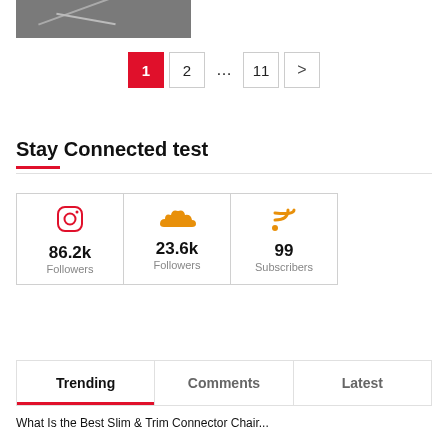[Figure (photo): Partial view of a dark gray photo showing what appears to be a circular object with lines on a dark background]
1 2 … 11 >
Stay Connected test
| Instagram | SoundCloud | RSS |
| --- | --- | --- |
| 86.2k Followers | 23.6k Followers | 99 Subscribers |
Trending
Comments
Latest
What Is the Best Slim & Trim Connector Chair...